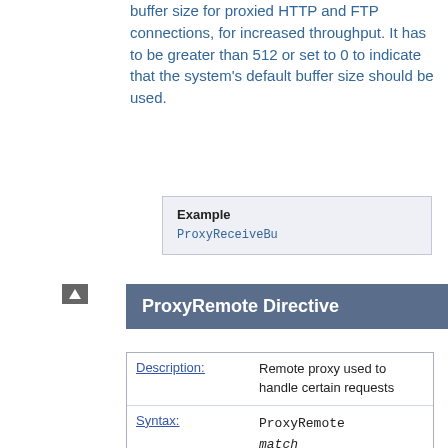buffer size for proxied HTTP and FTP connections, for increased throughput. It has to be greater than 512 or set to 0 to indicate that the system's default buffer size should be used.
Example
ProxyReceiveBu
ProxyRemote Directive
| Description: | Remote proxy used to handle certain requests |
| Syntax: | ProxyRemote match remote- |